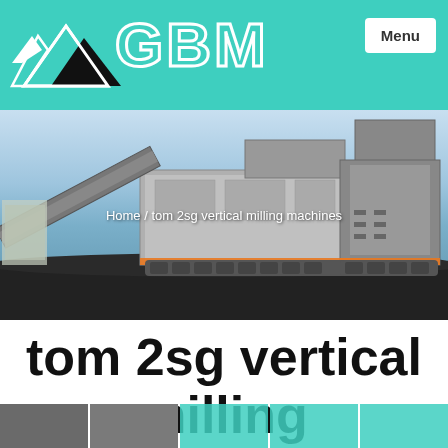GBM Menu
[Figure (photo): Industrial mobile screening/crushing machine (likely a mobile screen plant) photographed outdoors on a dark gravel/coal surface with blue sky background. Breadcrumb overlay reads: Home / tom 2sg vertical milling machines]
tom 2sg vertical milling machines
[Figure (photo): Bottom thumbnail row showing partial images of industrial equipment]